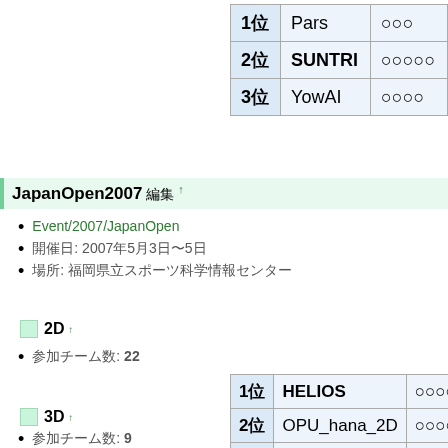|  |  |  |
| --- | --- | --- |
| 1位 | Pars | ○○○ |
| 2位 | SUNTRI | ○○○○○ |
| 3位 | YowAI | ○○○○ |
JapanOpen2007 編集 ↑
Event/2007/JapanOpen
開催日: 2007年5月3日〜5日
場所: 福岡県立スポーツ科学情報センター
2D ↑
参加チーム数: 22
|  |  |  |
| --- | --- | --- |
| 1位 | HELIOS | ○○○○○○○○○ |
| 2位 | OPU_hana_2D | ○○○○○○ |
| 3位 | ThinkingAnts? | ○○○○○○ |
3D ↑
参加チーム数: 9